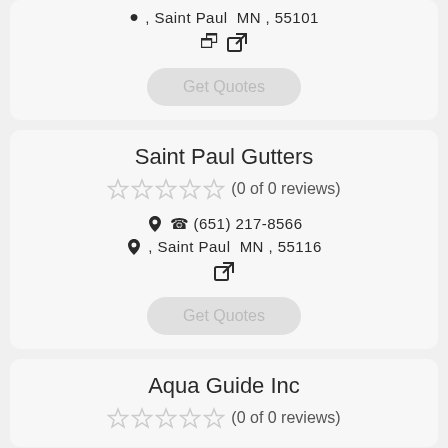, Saint Paul MN , 55101
external link icon
Get Quotes
Saint Paul Gutters
(0 of 0 reviews)
(651) 217-8566
, Saint Paul MN , 55116
external link icon
Get Quotes
Aqua Guide Inc
(0 of 0 reviews)